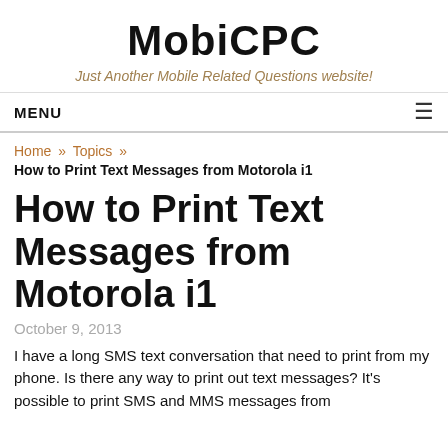MobiCPC
Just Another Mobile Related Questions website!
MENU
Home » Topics »
How to Print Text Messages from Motorola i1
How to Print Text Messages from Motorola i1
October 9, 2013
I have a long SMS text conversation that need to print from my phone. Is there any way to print out text messages? It's possible to print SMS and MMS messages from